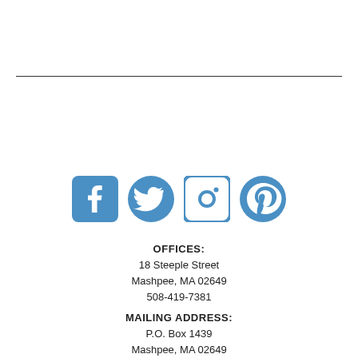[Figure (infographic): Social media icons: Facebook, Twitter, Instagram, Pinterest — all in steel blue color]
OFFICES:
18 Steeple Street
Mashpee, MA 02649
508-419-7381
MAILING ADDRESS:
P.O. Box 1439
Mashpee, MA 02649